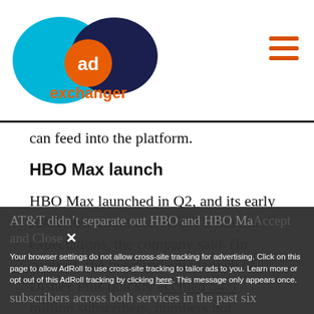AdExchanger logo and navigation
can feed into the platform.
HBO Max launch
HBO Max launched in Q2, and its early subscriber count met AT&T’s internal expectations, the company said. (In contrast, the pre-pandemic launch of Disney Plus quickly accrued 54.5 million subscribers, numbers not expected until two years post-launch.)
AT&T didn’t separate out HBO and HBO Max subscribers across both services in the past six
Your browser settings do not allow cross-site tracking for advertising. Click on this page to allow AdRoll to use cross-site tracking to tailor ads to you. Learn more or opt out of this AdRoll tracking by clicking here. This message only appears once.